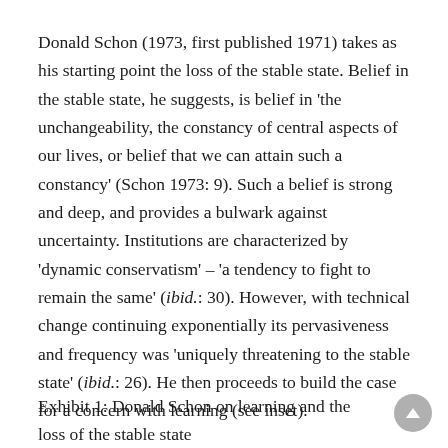Donald Schon (1973, first published 1971) takes as his starting point the loss of the stable state. Belief in the stable state, he suggests, is belief in 'the unchangeability, the constancy of central aspects of our lives, or belief that we can attain such a constancy' (Schon 1973: 9). Such a belief is strong and deep, and provides a bulwark against uncertainty. Institutions are characterized by 'dynamic conservatism' – 'a tendency to fight to remain the same' (ibid.: 30). However, with technical change continuing exponentially its pervasiveness and frequency was 'uniquely threatening to the stable state' (ibid.: 26). He then proceeds to build the case for a concern with learning (see inset).
Exhibit 1: Donald Schon on learning and the loss of the stable state